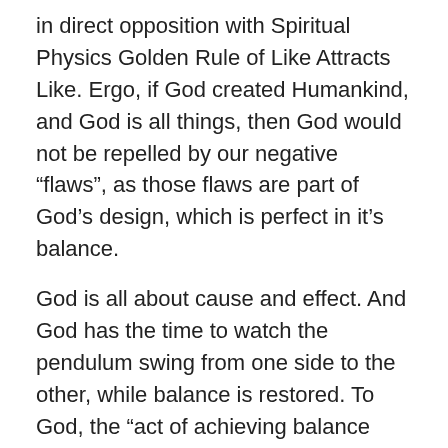in direct opposition with Spiritual Physics Golden Rule of Like Attracts Like. Ergo, if God created Humankind, and God is all things, then God would not be repelled by our negative “flaws”, as those flaws are part of God’s design, which is perfect in it’s balance.
God is all about cause and effect. And God has the time to watch the pendulum swing from one side to the other, while balance is restored. To God, the “act of achieving balance naturally” appears to be the most important aspect of holding all of this mayhem together. Since God doesn’t have an expiration date, God can “wait”, or more accurately, continue to exist in the moment indefinitely while all of this “balancing” is occurring.
What may seem like great injustice to we who are hanging out down here on this spinning rock called Earth for a